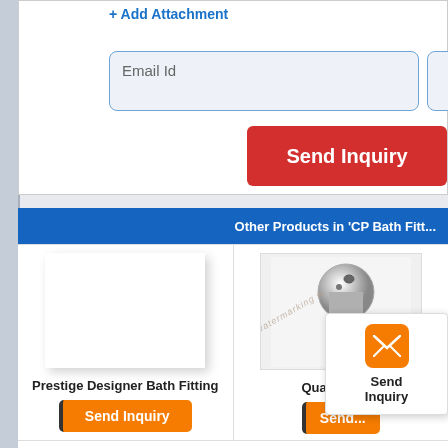+ Add Attachment
Email Id
Send Inquiry
Other Products in 'CP Bath Fitt...
[Figure (photo): Prestige Designer Bath Fitting product image placeholder (white box with shadow)]
Prestige Designer Bath Fitting
Send Inquiry
[Figure (photo): Quarter Turn bath fitting product photo - chrome metallic fitting, with watermark overlay]
Quarter Turn
Send
[Figure (other): Floating Send Inquiry popup with orange envelope icon]
Send Inquiry